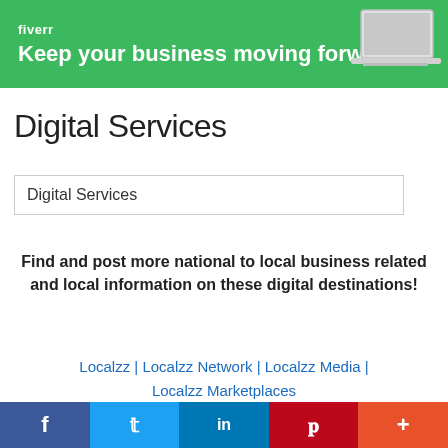[Figure (screenshot): Fiverr banner ad with green background, logo, tagline 'Keep your business moving forward', and laptop image on right]
Digital Services
Digital Services
Find and post more national to local business related and local information on these digital destinations!
Localzz | Localzz Network | Localzz Media | Localzz Marketplaces
LOCAL and NATIONAL INFORMATION NETWORK |
[Figure (infographic): Social share bar with Facebook (blue), Twitter (light blue), LinkedIn (dark blue), Pinterest (red), and More (+) (orange-red) buttons]